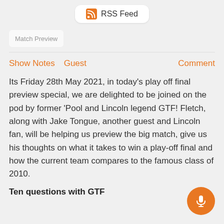[Figure (logo): RSS Feed button/logo with orange RSS icon and text 'RSS Feed' on white rounded rectangle]
Match Preview
Show Notes   Guest                                          Comment
Its Friday 28th May 2021, in today's play off final preview special, we are delighted to be joined on the pod by former 'Pool and Lincoln legend GTF! Fletch, along with Jake Tongue, another guest and Lincoln fan, will be helping us preview the big match, give us his thoughts on what it takes to win a play-off final and how the current team compares to the famous class of 2010.
Ten questions with GTF
[Figure (illustration): Orange circular microphone button in bottom right corner]